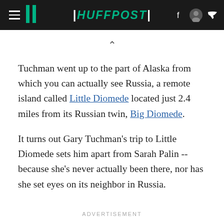HUFFPOST
Tuchman went up to the part of Alaska from which you can actually see Russia, a remote island called Little Diomede located just 2.4 miles from its Russian twin, Big Diomede.
It turns out Gary Tuchman's trip to Little Diomede sets him apart from Sarah Palin -- because she's never actually been there, nor has she set eyes on its neighbor in Russia.
ADVERTISEMENT